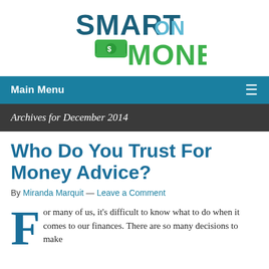[Figure (logo): Smart On Money logo — 'SMART' in dark teal bold, 'ON' in light blue, 'MONEY' in green bold, with a green dollar bill icon]
Main Menu
Archives for December 2014
Who Do You Trust For Money Advice?
By Miranda Marquit — Leave a Comment
For many of us, it's difficult to know what to do when it comes to our finances. There are so many decisions to make